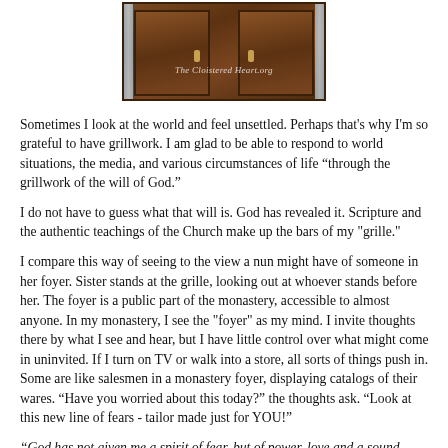[Figure (photo): A decorative wooden double door with ornate panels and a watermark reading 'The Cloistered Heart.org']
Sometimes I look at the world and feel unsettled.  Perhaps that's why I’m so grateful to have grillwork. I am glad to be able to respond to world situations, the media, and various circumstances of life “through the grillwork of the will of God.”
I do not have to guess what that will is. God has revealed it.  Scripture and the authentic teachings of the Church make up the bars of my "grille."
I compare this way of seeing to the view a nun might have of someone in her foyer.  Sister stands at the grille, looking out at whoever stands before her.  The foyer is a public part of the monastery, accessible to almost anyone.  In my monastery, I see the "foyer" as my mind.  I invite thoughts there by what I see and hear, but I have little control over what might come in uninvited.  If I turn on TV or walk into a store, all sorts of things push in.  Some are like salesmen in a monastery foyer, displaying catalogs of their wares.  “Have you worried about this today?” the thoughts ask. “Look at this new line of fears - tailor made just for YOU!”
“God has not given me a spirit of fear, but of power, love and a sound...